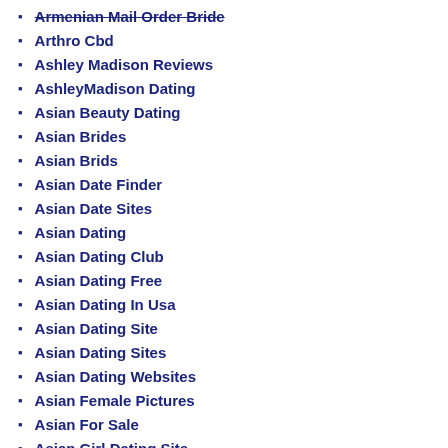Armenian Mail Order Bride
Arthro Cbd
Ashley Madison Reviews
AshleyMadison Dating
Asian Beauty Dating
Asian Brides
Asian Brids
Asian Date Finder
Asian Date Sites
Asian Dating
Asian Dating Club
Asian Dating Free
Asian Dating In Usa
Asian Dating Site
Asian Dating Sites
Asian Dating Websites
Asian Female Pictures
Asian For Sale
Asian Girl Dating Site
Asian Girlfriend Dating
Asian Girls Dating Sites
Asian Hottest Woman